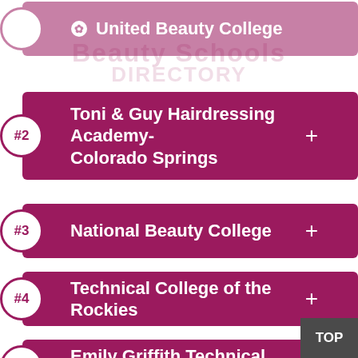United Beauty College
#2 Toni & Guy Hairdressing Academy-Colorado Springs
#3 National Beauty College
#4 Technical College of the Rockies
#5 Emily Griffith Technical College
#6 Stacey James Institute